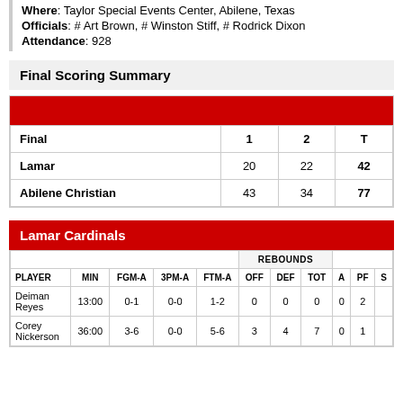Where: Taylor Special Events Center, Abilene, Texas
Officials: # Art Brown, # Winston Stiff, # Rodrick Dixon
Attendance: 928
Final Scoring Summary
| Final | 1 | 2 | T |
| --- | --- | --- | --- |
| Lamar | 20 | 22 | 42 |
| Abilene Christian | 43 | 34 | 77 |
Lamar Cardinals
| PLAYER | MIN | FGM-A | 3PM-A | FTM-A | OFF | DEF | TOT | A | PF | S |
| --- | --- | --- | --- | --- | --- | --- | --- | --- | --- | --- |
| Deiman Reyes | 13:00 | 0-1 | 0-0 | 1-2 | 0 | 0 | 0 | 0 | 2 |  |
| Corey Nickerson | 36:00 | 3-6 | 0-0 | 5-6 | 3 | 4 | 7 | 0 | 1 |  |